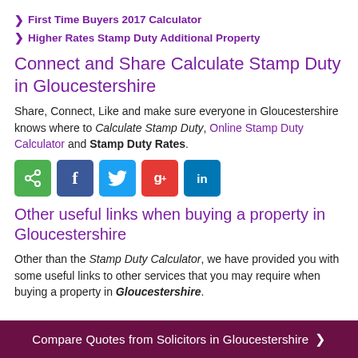First Time Buyers 2017 Calculator
Higher Rates Stamp Duty Additional Property
Connect and Share Calculate Stamp Duty in Gloucestershire
Share, Connect, Like and make sure everyone in Gloucestershire knows where to Calculate Stamp Duty, Online Stamp Duty Calculator and Stamp Duty Rates.
[Figure (infographic): Social sharing buttons: share (green), Facebook (blue), Twitter (light blue), Google+ (red), LinkedIn (dark blue)]
Other useful links when buying a property in Gloucestershire
Other than the Stamp Duty Calculator, we have provided you with some useful links to other services that you may require when buying a property in Gloucestershire.
Compare Quotes from Solicitors in Gloucestershire >